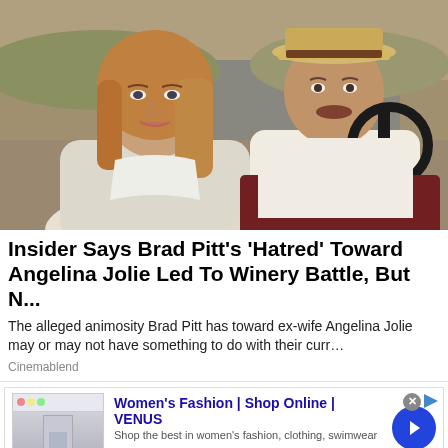[Figure (photo): Movie still showing a woman with long blonde-brown hair in a white top facing a man wearing a hat, seated in what appears to be a car, with a road and vehicle visible in the background.]
Insider Says Brad Pitt's 'Hatred' Toward Angelina Jolie Led To Winery Battle, But N...
The alleged animosity Brad Pitt has toward ex-wife Angelina Jolie may or may not have something to do with their curr...
Cinemablend
[Figure (screenshot): Advertisement for Women's Fashion | Shop Online | VENUS. Shows a small product image on the left, ad text in the middle, and a blue arrow button on the right. Ad title: Women's Fashion | Shop Online | VENUS. Description: Shop the best in women's fashion, clothing, swimwear. URL: venus.com]